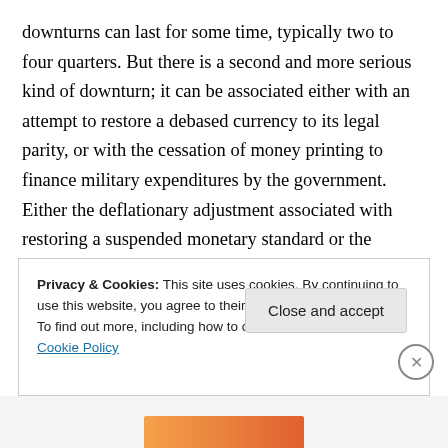downturns can last for some time, typically two to four quarters. But there is a second and more serious kind of downturn; it can be associated either with an attempt to restore a debased currency to its legal parity, or with the cessation of money printing to finance military expenditures by the government. Either the deflationary adjustment associated with restoring a suspended monetary standard or the disinflationary adjustment associated with the end of a monetary expansion tends to exacerbate and compound the pure resource reallocation problem that is taking place simultaneously.
Privacy & Cookies: This site uses cookies. By continuing to use this website, you agree to their use. To find out more, including how to control cookies, see here: Cookie Policy